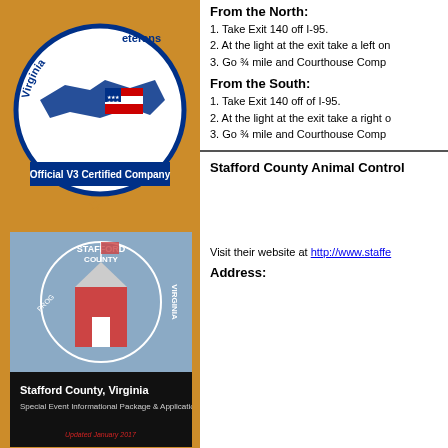[Figure (logo): Virginia Veterans Official V3 Certified Company circular logo with state outline and American flag]
[Figure (photo): Stafford County Virginia seal on cover of Special Event Informational Package & Application booklet, Updated January 2017]
From the North:
1. Take Exit 140 off I-95.
2. At the light at the exit take a left on
3. Go ¾ mile and Courthouse Comp
From the South:
1. Take Exit 140 off of I-95.
2. At the light at the exit take a right o
3. Go ¾ mile and Courthouse Comp
Stafford County Animal Control
Visit their website at http://www.staffe
Address: